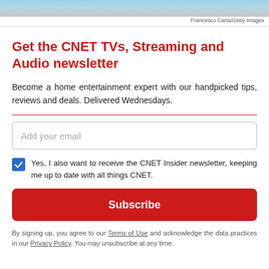[Figure (photo): Partial photo strip at top of page with teal/gray tones]
Francesco Carta/Getty Images
Get the CNET TVs, Streaming and Audio newsletter
Become a home entertainment expert with our handpicked tips, reviews and deals. Delivered Wednesdays.
Add your email
Yes, I also want to receive the CNET Insider newsletter, keeping me up to date with all things CNET.
Subscribe
By signing up, you agree to our Terms of Use and acknowledge the data practices in our Privacy Policy. You may unsubscribe at any time.